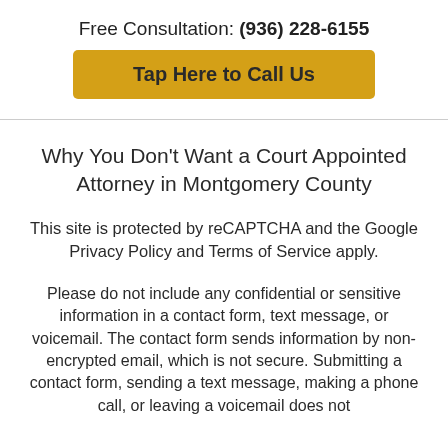Free Consultation: (936) 228-6155
Tap Here to Call Us
Why You Don't Want a Court Appointed Attorney in Montgomery County
This site is protected by reCAPTCHA and the Google Privacy Policy and Terms of Service apply.
Please do not include any confidential or sensitive information in a contact form, text message, or voicemail. The contact form sends information by non-encrypted email, which is not secure. Submitting a contact form, sending a text message, making a phone call, or leaving a voicemail does not